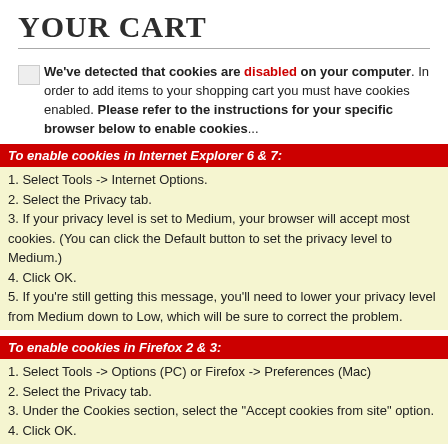YOUR CART
We've detected that cookies are disabled on your computer. In order to add items to your shopping cart you must have cookies enabled. Please refer to the instructions for your specific browser below to enable cookies...
To enable cookies in Internet Explorer 6 & 7:
1. Select Tools -> Internet Options.
2. Select the Privacy tab.
3. If your privacy level is set to Medium, your browser will accept most cookies. (You can click the Default button to set the privacy level to Medium.)
4. Click OK.
5. If you're still getting this message, you'll need to lower your privacy level from Medium down to Low, which will be sure to correct the problem.
To enable cookies in Firefox 2 & 3:
1. Select Tools -> Options (PC) or Firefox -> Preferences (Mac)
2. Select the Privacy tab.
3. Under the Cookies section, select the "Accept cookies from site" option.
4. Click OK.
To enable cookies in Safari:
1. Select the Gear Icon -> Preferences (PC) or Safari -> Preferences (Mac)
2. Select the Security tab.
3.Under the "Accept Cookies" section, select the "Only from sites you navigate to" option.